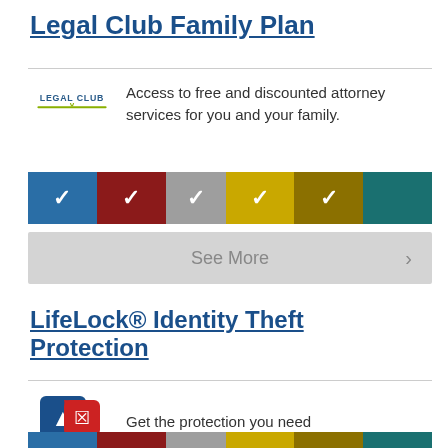Legal Club Family Plan
Access to free and discounted attorney services for you and your family.
[Figure (infographic): Color bar with checkmarks in 6 colored segments: blue, dark red, gray, gold/yellow, olive/brown, teal]
[Figure (other): See More button with arrow]
LifeLock® Identity Theft Protection
Get the protection you need
[Figure (infographic): Color bar with checkmarks in 6 colored segments: blue, dark red, gray, gold/yellow, olive/brown, teal (partially visible at bottom)]